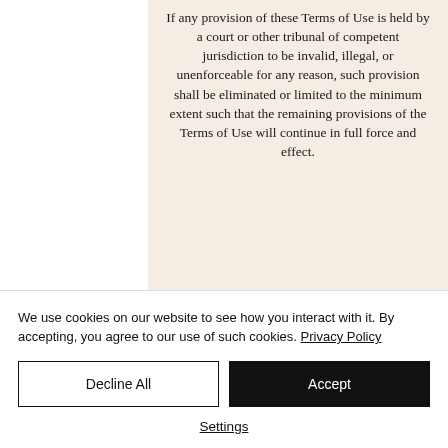If any provision of these Terms of Use is held by a court or other tribunal of competent jurisdiction to be invalid, illegal, or unenforceable for any reason, such provision shall be eliminated or limited to the minimum extent such that the remaining provisions of the Terms of Use will continue in full force and effect.
Entire Agreement
We use cookies on our website to see how you interact with it. By accepting, you agree to our use of such cookies. Privacy Policy